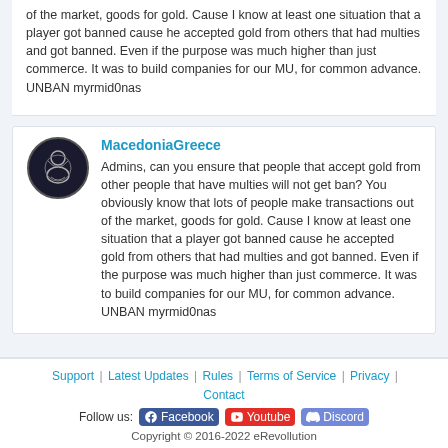of the market, goods for gold. Cause I know at least one situation that a player got banned cause he accepted gold from others that had multies and got banned. Even if the purpose was much higher than just commerce. It was to build companies for our MU, for common advance. UNBAN myrmid0nas
MacedoniaGreece
Admins, can you ensure that people that accept gold from other people that have multies will not get ban? You obviously know that lots of people make transactions out of the market, goods for gold. Cause I know at least one situation that a player got banned cause he accepted gold from others that had multies and got banned. Even if the purpose was much higher than just commerce. It was to build companies for our MU, for common advance. UNBAN myrmid0nas
Support | Latest Updates | Rules | Terms of Service | Privacy | Contact
Follow us: Facebook Youtube Discord
Copyright © 2016-2022 eRevollution